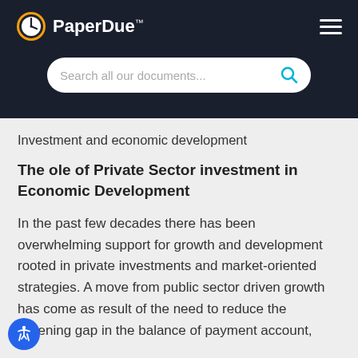PaperDue™ — Search all our documents...
Investment and economic development
The ole of Private Sector investment in Economic Development
In the past few decades there has been overwhelming support for growth and development rooted in private investments and market-oriented strategies. A move from public sector driven growth has come as result of the need to reduce the widening gap in the balance of payment account,